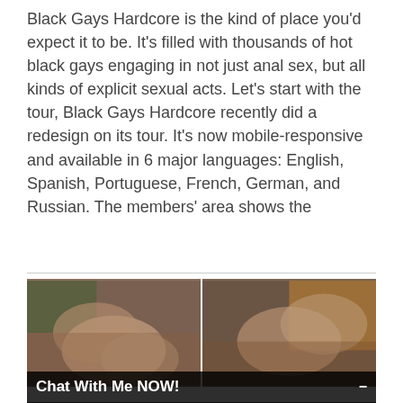Black Gays Hardcore is the kind of place you'd expect it to be. It's filled with thousands of hot black gays engaging in not just anal sex, but all kinds of explicit sexual acts. Let's start with the tour, Black Gays Hardcore recently did a redesign on its tour. It's now mobile-responsive and available in 6 major languages: English, Spanish, Portuguese, French, German, and Russian. The members' area shows the
[Figure (photo): Two side-by-side explicit adult content photographs]
Chat With Me NOW!
LIVE